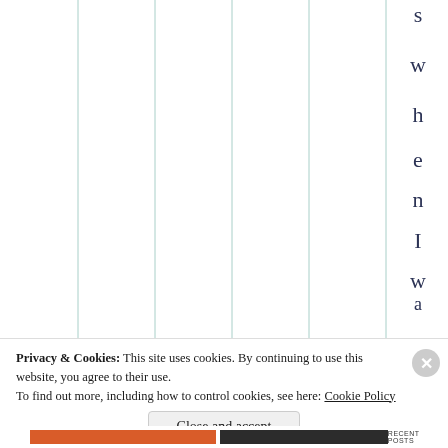[Figure (other): Partial chart view showing vertical gridlines with rotated text letters spelling 's w h e n I w a s v e' on the right side, appearing to be part of a larger column/bar chart.]
Privacy & Cookies: This site uses cookies. By continuing to use this website, you agree to their use.
To find out more, including how to control cookies, see here: Cookie Policy
Close and accept